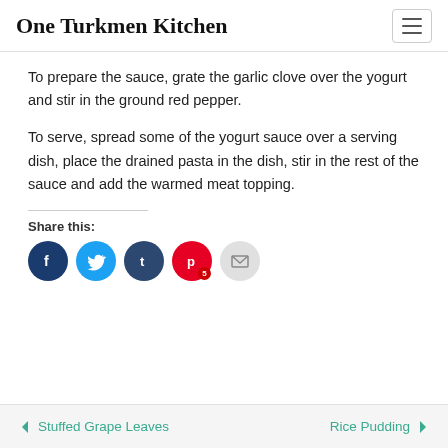One Turkmen Kitchen
To prepare the sauce, grate the garlic clove over the yogurt and stir in the ground red pepper.
To serve, spread some of the yogurt sauce over a serving dish, place the drained pasta in the dish, stir in the rest of the sauce and add the warmed meat topping.
Share this:
[Figure (other): Social share icons: Facebook, Twitter, Tumblr, Pinterest (with badge 5), Email]
Stuffed Grape Leaves | Rice Pudding